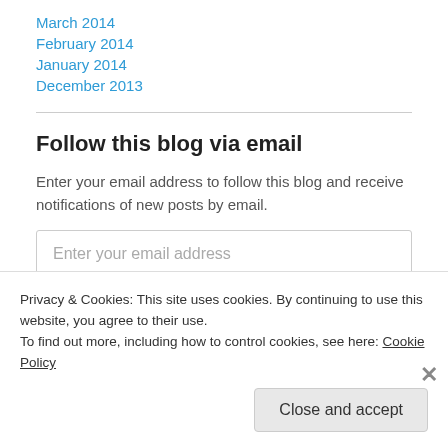March 2014
February 2014
January 2014
December 2013
Follow this blog via email
Enter your email address to follow this blog and receive notifications of new posts by email.
Privacy & Cookies: This site uses cookies. By continuing to use this website, you agree to their use.
To find out more, including how to control cookies, see here: Cookie Policy